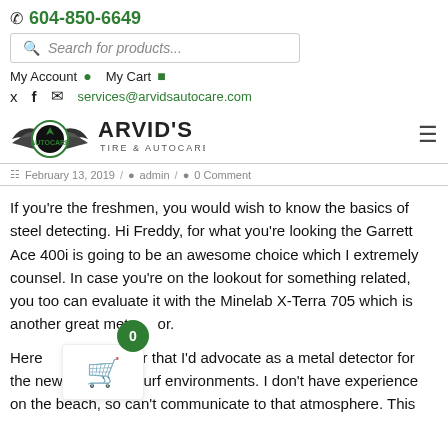604-850-6649
Search for products...
My Account  My Cart
services@arvidsautocare.com
[Figure (logo): Arvid's Tire & Autocare logo with eagle wings and circular emblem]
February 13, 2019  /  admin  /  0 Comment
If you're the freshmen, you would wish to know the basics of steel detecting. Hi Freddy, for what you're looking the Garrett Ace 400i is going to be an awesome choice which I extremely counsel. In case you're on the lookout for something related, you too can evaluate it with the Minelab X-Terra 705 which is another great metal detector. Here [is a non-]allic detector that I'd advocate as a metal detector for the newbie in most turf environments. I don't have experience on the beach, so can't communicate to that atmosphere. This